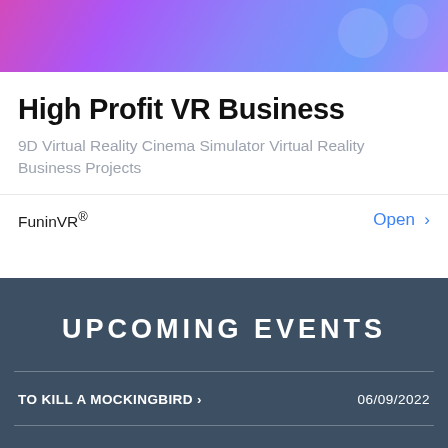[Figure (illustration): Abstract VR/anime themed banner image with purple, blue and pink gradient colors]
High Profit VR Business
9D Virtual Reality Cinema Simulator Virtual Reality Business Projects
FuninVR®
Open >
UPCOMING EVENTS
TO KILL A MOCKINGBIRD >
06/09/2022